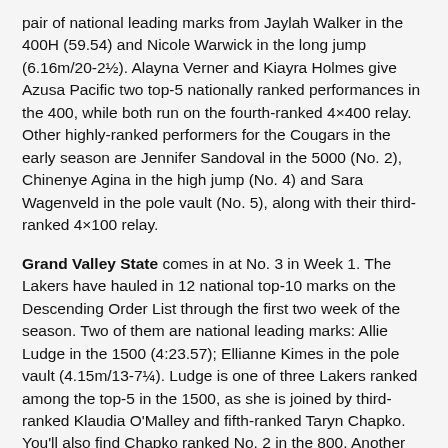pair of national leading marks from Jaylah Walker in the 400H (59.54) and Nicole Warwick in the long jump (6.16m/20-2½). Alayna Verner and Kiayra Holmes give Azusa Pacific two top-5 nationally ranked performances in the 400, while both run on the fourth-ranked 4×400 relay. Other highly-ranked performers for the Cougars in the early season are Jennifer Sandoval in the 5000 (No. 2), Chinenye Agina in the high jump (No. 4) and Sara Wagenveld in the pole vault (No. 5), along with their third-ranked 4×100 relay.
Grand Valley State comes in at No. 3 in Week 1. The Lakers have hauled in 12 national top-10 marks on the Descending Order List through the first two week of the season. Two of them are national leading marks: Allie Ludge in the 1500 (4:23.57); Ellianne Kimes in the pole vault (4.15m/13-7¼). Ludge is one of three Lakers ranked among the top-5 in the 1500, as she is joined by third-ranked Klaudia O'Malley and fifth-ranked Taryn Chapko. You'll also find Chapko ranked No. 2 in the 800. Another event the Lakers have a heavy presence in is the 10,000 as the trio of Jessica Gockley, Kayce Rypma and Grace Pagone all sit in the top-10.
Fresno Pacific will start the season at No. 4. The Sunbirds have nine national top-10 marks to its credit, with six of them residing in the